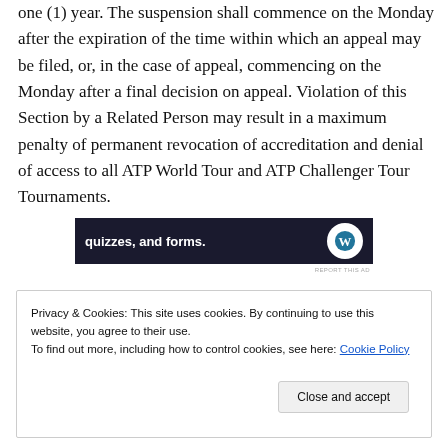one (1) year. The suspension shall commence on the Monday after the expiration of the time within which an appeal may be filed, or, in the case of appeal, commencing on the Monday after a final decision on appeal. Violation of this Section by a Related Person may result in a maximum penalty of permanent revocation of accreditation and denial of access to all ATP World Tour and ATP Challenger Tour Tournaments.
[Figure (other): Advertisement banner with text 'quizzes, and forms.' and WordPress logo on dark background]
Privacy & Cookies: This site uses cookies. By continuing to use this website, you agree to their use.
To find out more, including how to control cookies, see here: Cookie Policy